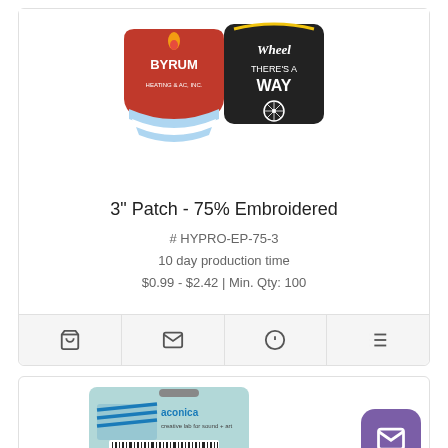[Figure (photo): Two embroidered patches: a Byrum Heating & AC, Inc. shield patch and a 'Where There's A Wheel There's A Way' patch]
3" Patch - 75% Embroidered
# HYPRO-EP-75-3
10 day production time
$0.99 - $2.42 | Min. Qty: 100
[Figure (photo): Luggage tag/badge with Aconica creative lab for sound + art logo and barcode. Purple email button overlay in bottom-right corner.]